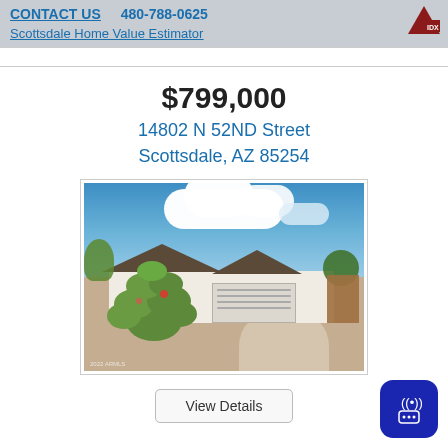CONTACT US  480-788-0625
Scottsdale Home Value Estimator
$799,000
14802 N 52ND Street
Scottsdale, AZ 85254
[Figure (photo): Exterior photo of a single-story white stucco ranch home with brown trim roof, two-car garage, large prickly pear cactus in foreground, blue sky with white clouds]
View Details